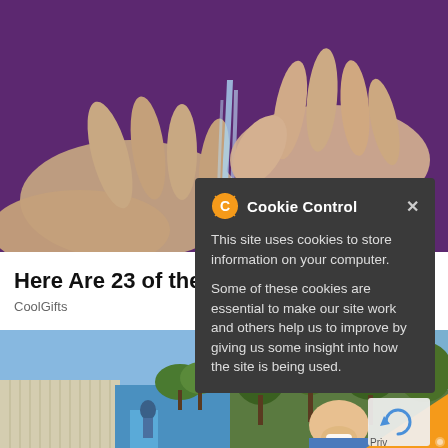[Figure (photo): Close-up photo of hands under running water against a purple background]
Here Are 23 of the Co...
CoolGifts
[Figure (screenshot): Cookie Control popup dialog: 'This site uses cookies to store information on your computer. Some of these cookies are essential to make our site work and others help us to improve by giving us some insight into how the site is being used.']
[Figure (photo): Two photos side by side: left shows a building exterior, right shows a person smiling outdoors]
Learn More
[Figure (logo): Privacy/cookie settings badge in orange at bottom right corner]